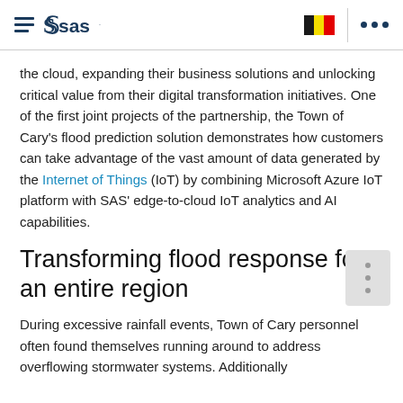SAS logo and navigation header with Belgium flag
the cloud, expanding their business solutions and unlocking critical value from their digital transformation initiatives. One of the first joint projects of the partnership, the Town of Cary's flood prediction solution demonstrates how customers can take advantage of the vast amount of data generated by the Internet of Things (IoT) by combining Microsoft Azure IoT platform with SAS' edge-to-cloud IoT analytics and AI capabilities.
Transforming flood response for an entire region
During excessive rainfall events, Town of Cary personnel often found themselves running around to address overflowing stormwater systems. Additionally